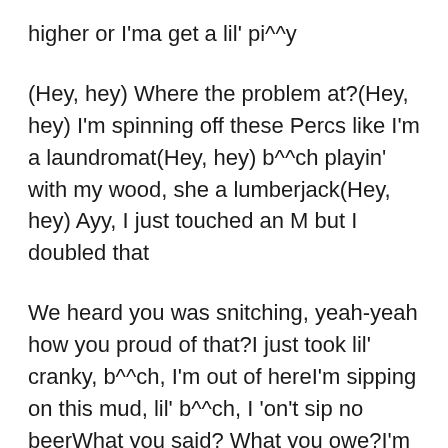higher or I'ma get a lil' pi^^y
(Hey, hey) Where the problem at?(Hey, hey) I'm spinning off these Percs like I'm a laundromat(Hey, hey) b^^ch playin' with my wood, she a lumberjack(Hey, hey) Ayy, I just touched an M but I doubled that
We heard you was snitching, yeah-yeah how you proud of that?I just took lil' cranky, b^^ch, I'm out of hereI'm sipping on this mud, lil' b^^ch, I 'on't sip no beerWhat you said? What you owe?I'm full of red from head to toeYeah, I thought I was dead, had to let you knowYeah, my demons said, no, don't let